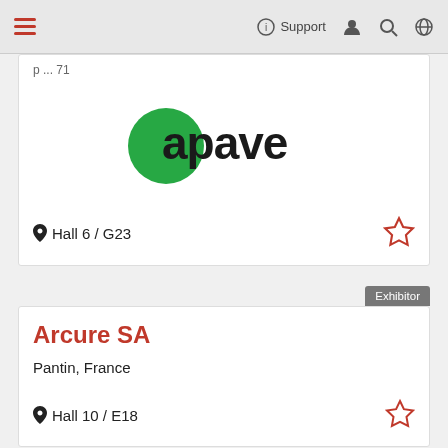Support
p ... 71
[Figure (logo): Apave logo: green circle with 'apave' text in black sans-serif]
Hall 6 / G23
Exhibitor
Arcure SA
Pantin, France
Hall 10 / E18